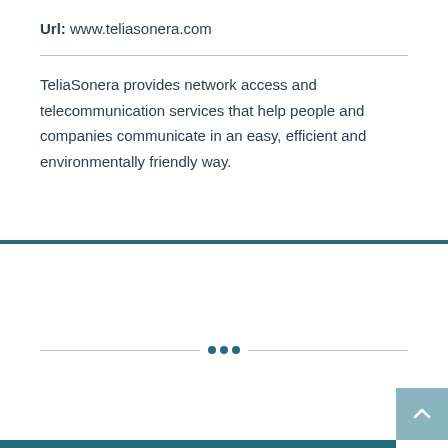Url: www.teliasonera.com
TeliaSonera provides network access and telecommunication services that help people and companies communicate in an easy, efficient and environmentally friendly way.
Business registry